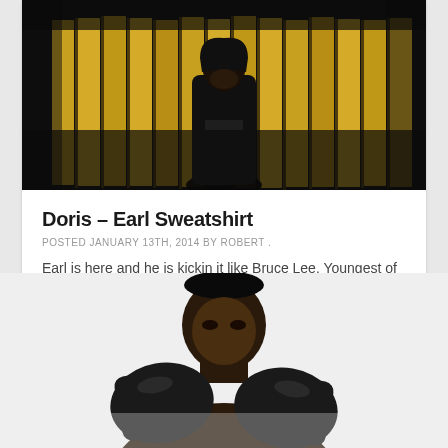[Figure (photo): Person in black hoodie standing in front of a wooden fence, dark photo with warm yellow/gold fence tones]
Doris – Earl Sweatshirt
POSTED JANUARY 13TH, 2014 BY ROBERT .
Earl is here and he is kickin it like Bruce Lee. Youngest of  odd future his with a couple different flares on this album from
[Figure (photo): Young Black man in boxing gloves posed in fighting stance, white/light background, promotional boxing photo]